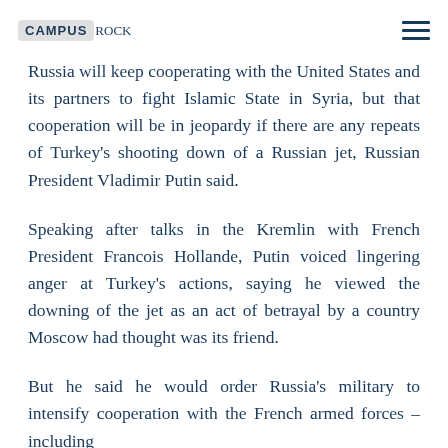CAMPUS ROCK
Russia will keep cooperating with the United States and its partners to fight Islamic State in Syria, but that cooperation will be in jeopardy if there are any repeats of Turkey's shooting down of a Russian jet, Russian President Vladimir Putin said.
Speaking after talks in the Kremlin with French President Francois Hollande, Putin voiced lingering anger at Turkey's actions, saying he viewed the downing of the jet as an act of betrayal by a country Moscow had thought was its friend.
But he said he would order Russia's military to intensify cooperation with the French armed forces – including